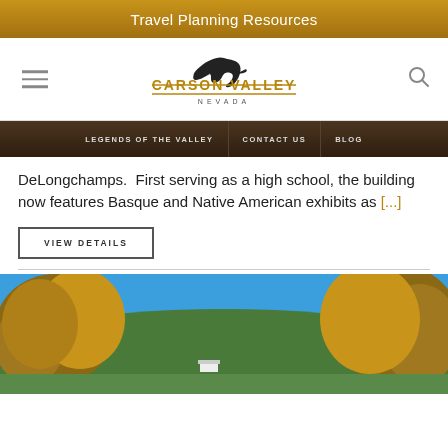Travel Planning Resources
[Figure (logo): Carson Valley Nevada logo with eagle silhouette]
LEGENDS OF THE VALLEY   CONTACT US   BLOG
DeLongchamps.  First serving as a high school, the building now features Basque and Native American exhibits as [...]
VIEW DETAILS
[Figure (photo): Outdoor scenic photo showing autumn trees with golden and green foliage against a bright blue sky, with green hills in the background]